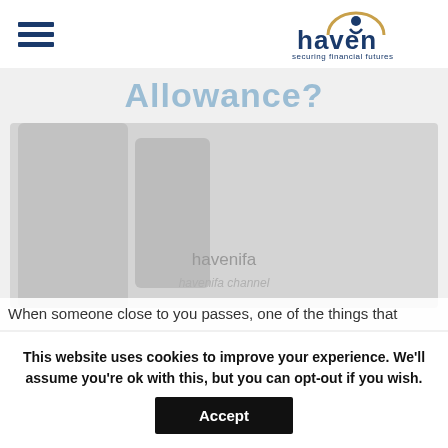[Figure (logo): Haven IFA logo — 'haven' in dark blue text with a stylized arch/person icon above, and 'securing financial futures' tagline below in smaller text]
Allowance?
[Figure (screenshot): Video thumbnail area showing 'havenifa' channel name and blurred/faded video background with silhouetted figures]
When someone close to you passes, one of the things that
This website uses cookies to improve your experience. We'll assume you're ok with this, but you can opt-out if you wish.